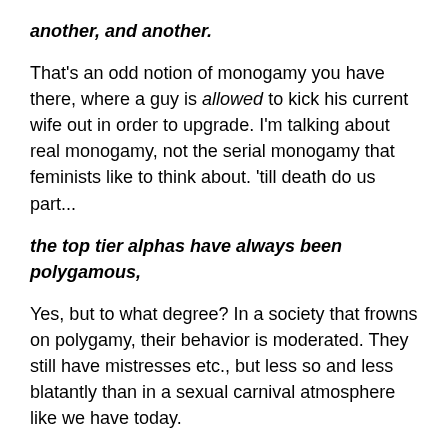another, and another.
That's an odd notion of monogamy you have there, where a guy is allowed to kick his current wife out in order to upgrade. I'm talking about real monogamy, not the serial monogamy that feminists like to think about. 'till death do us part...
the top tier alphas have always been polygamous,
Yes, but to what degree? In a society that frowns on polygamy, their behavior is moderated. They still have mistresses etc., but less so and less blatantly than in a sexual carnival atmosphere like we have today.
Why? Polygamy increases female choice.
They have more bad choices, sure. Rational women will prefer to have a smaller number of better long-term choices. Monogamy produces a far more stable and productive society. Societies where monogamy is the norm have significantly better standards of living that ones where